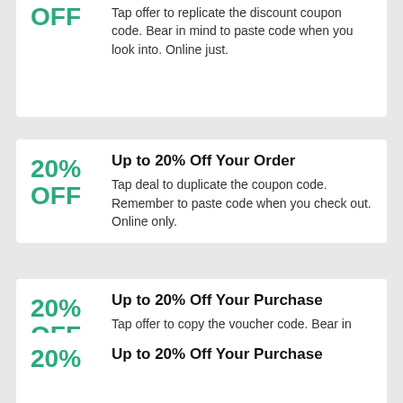OFF
Tap offer to replicate the discount coupon code. Bear in mind to paste code when you look into. Online just.
Up to 20% Off Your Order
20% OFF
Tap deal to duplicate the coupon code. Remember to paste code when you check out. Online only.
Up to 20% Off Your Purchase
20% OFF
Tap offer to copy the voucher code. Bear in mind to paste code when you look into. Online just.
Up to 20% Off Your Purchase
20%